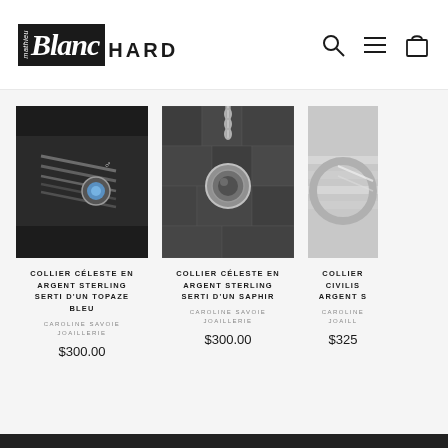Mathieu Blanchard — navigation header with logo, search, menu, and cart icons
[Figure (photo): Black and white photo of silver chain bracelets and a ring with blue topaz stone on dark leather background]
COLLIER CÉLESTE EN ARGENT STERLING SERTI D'UN TOPAZE BLEU
CAROLINE SAVOIE JOAILLERIE
$300.00
[Figure (photo): Black and white photo of a silver pendant necklace with round stone on dark stone/brick background]
COLLIER CÉLESTE EN ARGENT STERLING SERTI D'UN SAPHIR
CAROLINE SAVOIE JOAILLERIE
$300.00
[Figure (photo): Partial view of a silver jewelry piece (bracelet/bangle) on light background — partially cropped]
COLLIER CIVILIS ARGENT S…
CAROLINE JOAILL…
$325…